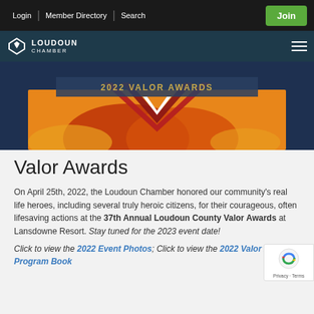Login | Member Directory | Search | Join
[Figure (logo): Loudoun Chamber logo with navigation header in dark teal]
[Figure (photo): 2022 Valor Awards banner image with orange/red decorative V shape on dark blue background]
Valor Awards
On April 25th, 2022, the Loudoun Chamber honored our community's real life heroes, including several truly heroic citizens, for their courageous, often lifesaving actions at the 37th Annual Loudoun County Valor Awards at Lansdowne Resort. Stay tuned for the 2023 event date!
Click to view the 2022 Event Photos; Click to view the 2022 Valor Awards Program Book